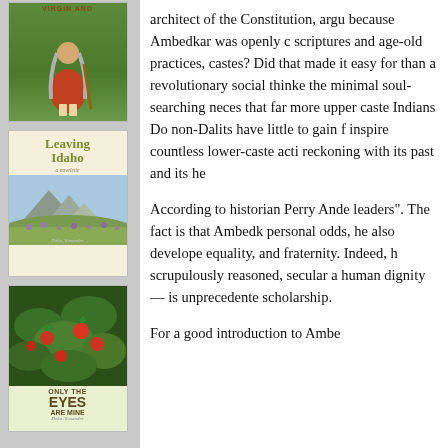[Figure (illustration): Book cover - figure of woman with grey hair holding a staff, standing in green landscape, partial title visible at top]
[Figure (illustration): Book cover - 'Leaving Idaho, a novelette' by Deka Alexander, featuring mountain landscape with purple wildflowers]
[Figure (illustration): Book cover - 'Only the Eyes Are Mine' by Deka Alexander, featuring green foliage with red pomegranates]
architect of the Constitution, argu because Ambedkar was openly c scriptures and age-old practices, castes? Did that made it easy for than a revolutionary social thinke the minimal soul-searching neces that far more upper caste Indians Do non-Dalits have little to gain f inspire countless lower-caste acti reckoning with its past and its he
According to historian Perry Ande leaders". The fact is that Ambedk personal odds, he also develope equality, and fraternity. Indeed, h scrupulously reasoned, secular a human dignity — is unprecedente scholarship.
For a good introduction to Ambe